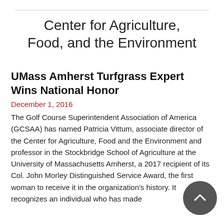Center for Agriculture, Food, and the Environment
UMass Amherst Turfgrass Expert Wins National Honor
December 1, 2016
The Golf Course Superintendent Association of America (GCSAA) has named Patricia Vittum, associate director of the Center for Agriculture, Food and the Environment and professor in the Stockbridge School of Agriculture at the University of Massachusetts Amherst, a 2017 recipient of its Col. John Morley Distinguished Service Award, the first woman to receive it in the organization's history. It recognizes an individual who has made